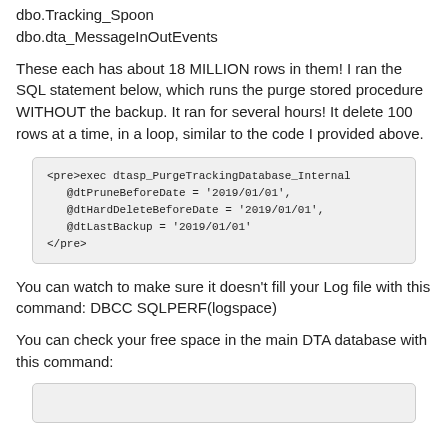dbo.Tracking_Spoon
dbo.dta_MessageInOutEvents
These each has about 18 MILLION rows in them! I ran the SQL statement below, which runs the purge stored procedure WITHOUT the backup. It ran for several hours! It delete 100 rows at a time, in a loop, similar to the code I provided above.
[Figure (screenshot): Code block showing SQL exec command: exec dtasp_PurgeTrackingDatabase_Internal @dtPruneBeforeDate = '2019/01/01', @dtHardDeleteBeforeDate = '2019/01/01', @dtLastBackup = '2019/01/01' wrapped in <pre> tags]
You can watch to make sure it doesn't fill your Log file with this command: DBCC SQLPERF(logspace)
You can check your free space in the main DTA database with this command: